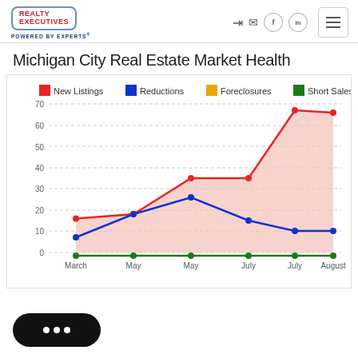[Figure (logo): Realty Executives Powered By Experts logo with navigation icons]
Michigan City Real Estate Market Health
[Figure (line-chart): Michigan City Real Estate Market Health]